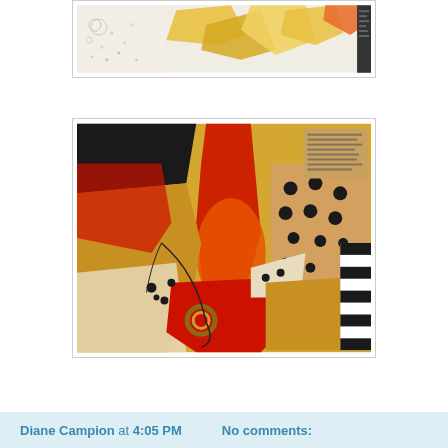[Figure (illustration): Abstract collage artwork, partial view — white background with black dotted marks, yellow and orange torn paper shapes, black text fragment on right edge]
[Figure (illustration): Abstract collage artwork featuring bold red, orange, black, and golden yellow torn paper shapes with polka dot black-and-white pattern, vertical black-and-white striped bar on right edge, small circular gold shape near bottom center]
Diane Campion at 4:05 PM    No comments: